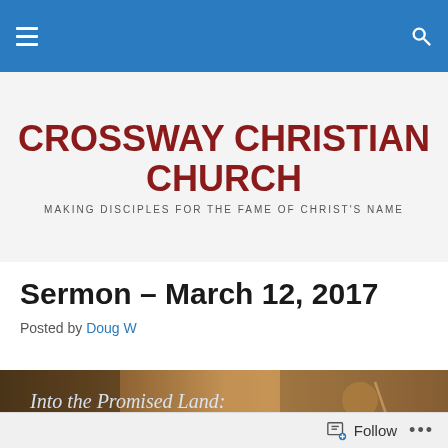Crossway Christian Church – navigation bar
[Figure (logo): Crossway Christian Church logo with church name in bold dark red and tagline 'MAKING DISCIPLES FOR THE FAME OF CHRIST'S NAME']
Sermon – March 12, 2017
Posted by Doug W
[Figure (illustration): Banner image titled 'Into the Promised Land: Faith, Law, and the Promise of God' showing a painted figure in robes against a warm golden background]
Follow ...